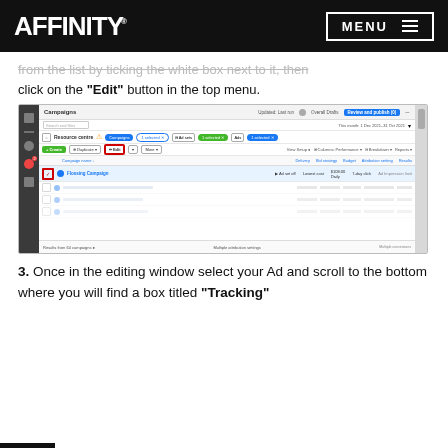AFFINITY. MENU
from the list by ticking the white box next to it, then click on the “Edit” button in the top menu.
[Figure (screenshot): Screenshot of Facebook Ads Manager Campaigns interface showing the Edit button highlighted with a red border and a campaign named 'Flossing Campaign' selected with a red checkbox.]
3. Once in the editing window select your Ad and scroll to the bottom where you will find a box titled “Tracking”